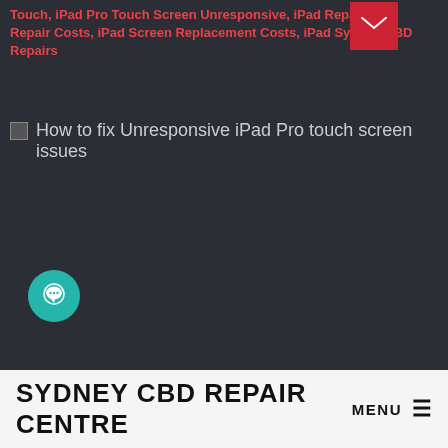Touch, iPad Pro Touch Screen Unresponsive, iPad Repair, iPad Repair Costs, iPad Screen Replacement Costs, iPad Sydney CBD Repairs
[Figure (photo): Broken image placeholder with alt text: How to fix Unresponsive iPad Pro touch screen issues]
[Figure (other): Teal chat/message circular button icon]
SYDNEY CBD REPAIR CENTRE MENU ☰